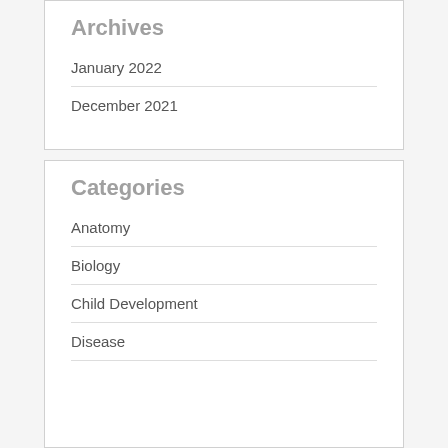Archives
January 2022
December 2021
Categories
Anatomy
Biology
Child Development
Disease